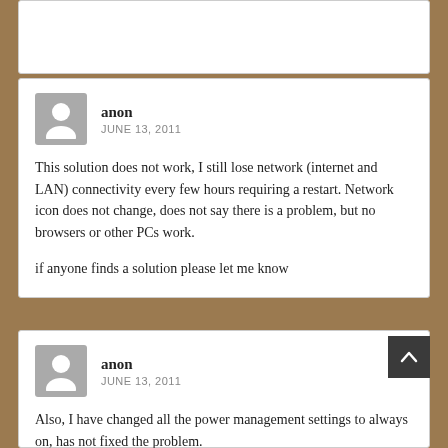anon
JUNE 13, 2011

This solution does not work, I still lose network (internet and LAN) connectivity every few hours requiring a restart. Network icon does not change, does not say there is a problem, but no browsers or other PCs work.

if anyone finds a solution please let me know
anon
JUNE 13, 2011

Also, I have changed all the power management settings to always on, has not fixed the problem.